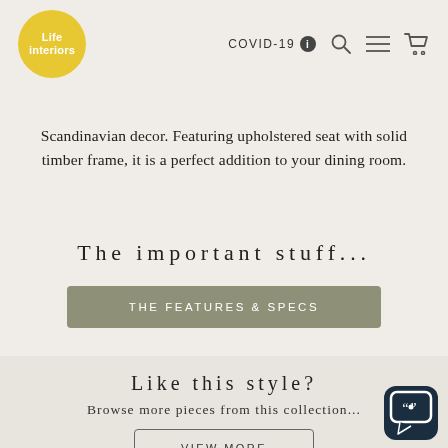Life interiors — COVID-19 navigation bar
Scandinavian decor. Featuring upholstered seat with solid timber frame, it is a perfect addition to your dining room.
The important stuff...
THE FEATURES & SPECS
Like this style?
Browse more pieces from this collection...
VIEW MORE